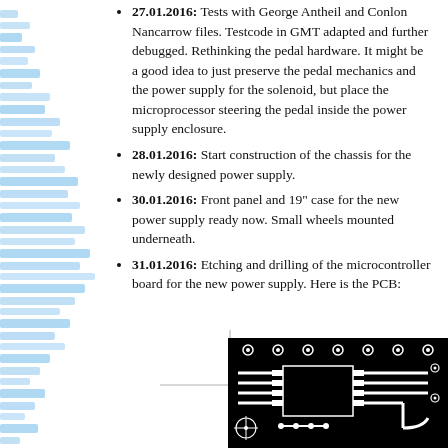27.01.2016: Tests with George Antheil and Conlon Nancarrow files. Testcode in GMT adapted and further debugged. Rethinking the pedal hardware. It might be a good idea to just preserve the pedal mechanics and the power supply for the solenoid, but place the microprocessor steering the pedal inside the power supply enclosure.
28.01.2016: Start construction of the chassis for the newly designed power supply.
30.01.2016: Front panel and 19" case for the new power supply ready now. Small wheels mounted underneath.
31.01.2016: Etching and drilling of the microcontroller board for the new power supply. Here is the PCB:
[Figure (engineering-diagram): PCB (printed circuit board) image showing black background with white copper traces, pads, and component outlines including a crosshair symbol.]